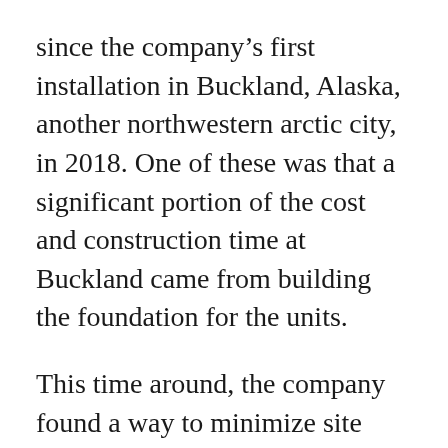since the company's first installation in Buckland, Alaska, another northwestern arctic city, in 2018. One of these was that a significant portion of the cost and construction time at Buckland came from building the foundation for the units.
This time around, the company found a way to minimize site preparation with 30,000-pound bags of sand and gravel placed on each unit, which avoided having to construct a foundation. The technological changes allowed installation of a system at about $4.50 per watt, compared with about $8 per watt for comparable projects in Alaska.